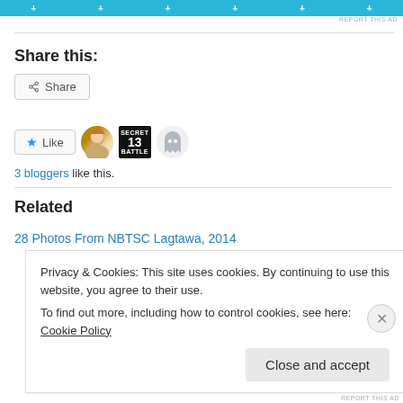[Figure (other): Blue advertisement banner with plus signs]
REPORT THIS AD
Share this:
[Figure (other): Share button with share icon]
[Figure (other): Like button with star icon, three blogger avatars]
3 bloggers like this.
Related
28 Photos From NBTSC Lagtawa, 2014
Privacy & Cookies: This site uses cookies. By continuing to use this website, you agree to their use.
To find out more, including how to control cookies, see here: Cookie Policy